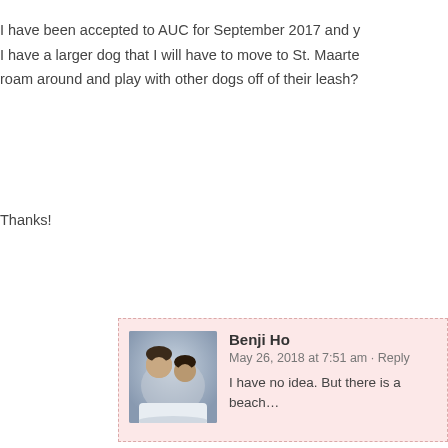I have been accepted to AUC for September 2017 and y... I have a larger dog that I will have to move to St. Maarte... roam around and play with other dogs off of their leash?
Thanks!
Benji Ho
May 26, 2018 at 7:51 am · Reply
I have no idea. But there is a beach...
Leave a Reply to Benji Cancel reply